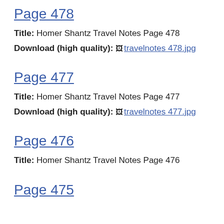Page 478
Title: Homer Shantz Travel Notes Page 478
Download (high quality): travelnotes 478.jpg
Page 477
Title: Homer Shantz Travel Notes Page 477
Download (high quality): travelnotes 477.jpg
Page 476
Title: Homer Shantz Travel Notes Page 476
Page 475